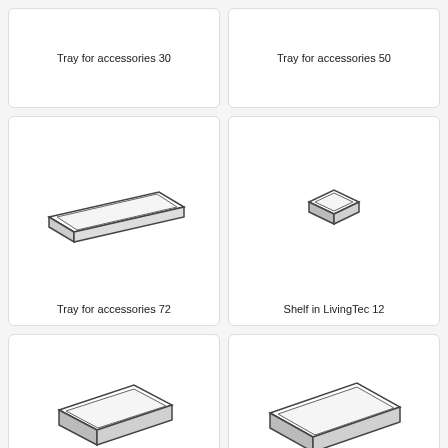[Figure (illustration): Tray for accessories 30 - top row left card, label only visible]
Tray for accessories 30
[Figure (illustration): Tray for accessories 50 - top row right card, label only visible]
Tray for accessories 50
[Figure (illustration): Isometric line drawing of a long flat rectangular tray accessory 72]
Tray for accessories 72
[Figure (illustration): Isometric line drawing of a small square shelf in LivingTec 12]
Shelf in LivingTec 12
[Figure (illustration): Isometric line drawing of a medium rectangular tray - bottom left, partial]
[Figure (illustration): Isometric line drawing of a wider rectangular tray - bottom right, partial]